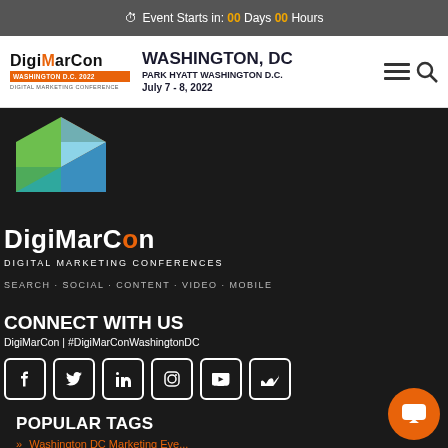Event Starts in: 00 Days 00 Hours
[Figure (logo): DigiMarCon Washington D.C. 2022 logo with navigation bar showing WASHINGTON, DC, PARK HYATT WASHINGTON D.C., July 7 - 8, 2022]
[Figure (logo): DigiMarCon cube logo (3D box made of orange, green, and blue triangular panels)]
DiGiMARCON
DIGITAL MARKETING CONFERENCES
SEARCH · SOCIAL · CONTENT · VIDEO · MOBILE
CONNECT WITH US
DigiMarCon | #DigiMarConWashingtonDC
[Figure (infographic): Social media icons row: Facebook, Twitter, LinkedIn, Instagram, YouTube, Vimeo]
POPULAR TAGS
» Washington DC Marketing Eve...